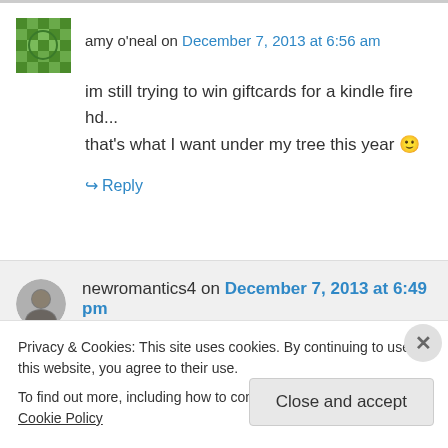amy o'neal on December 7, 2013 at 6:56 am
im still trying to win giftcards for a kindle fire hd... that's what I want under my tree this year 🙂
↪ Reply
newromantics4 on December 7, 2013 at 6:49 pm
Privacy & Cookies: This site uses cookies. By continuing to use this website, you agree to their use.
To find out more, including how to control cookies, see here: Cookie Policy
Close and accept